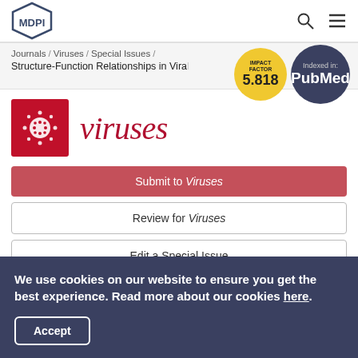MDPI
Journals / Viruses / Special Issues / Structure-Function Relationships in Viral
IMPACT FACTOR 5.818
Indexed in: PubMed
[Figure (logo): Viruses journal logo — red square with white virus particle icon and italic red 'viruses' wordmark]
Submit to Viruses
Review for Viruses
Edit a Special Issue
We use cookies on our website to ensure you get the best experience. Read more about our cookies here.
Accept